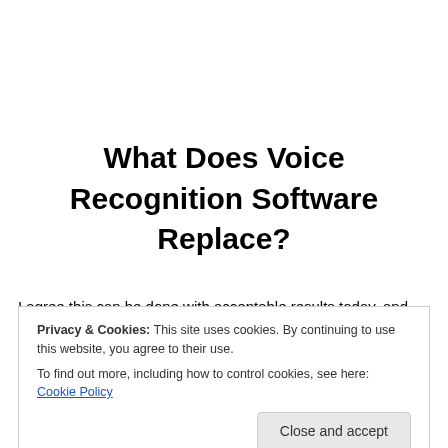What Does Voice Recognition Software Replace?
I agree this can be done with acceptable results today, and
Privacy & Cookies: This site uses cookies. By continuing to use this website, you agree to their use.
To find out more, including how to control cookies, see here: Cookie Policy
it is more importantly the editing procedure of the